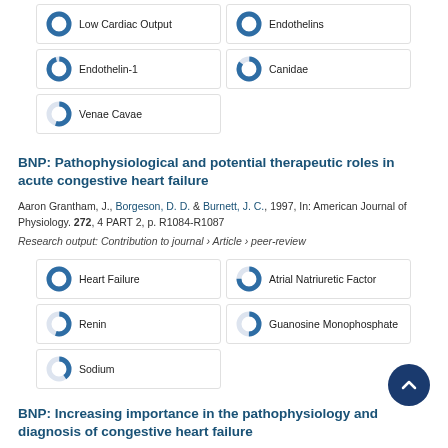100% Low Cardiac Output
100% Endothelins
95% Endothelin-1
85% Canidae
55% Venae Cavae
BNP: Pathophysiological and potential therapeutic roles in acute congestive heart failure
Aaron Grantham, J., Borgeson, D. D. & Burnett, J. C., 1997, In: American Journal of Physiology. 272, 4 PART 2, p. R1084-R1087
Research output: Contribution to journal › Article › peer-review
100% Heart Failure
75% Atrial Natriuretic Factor
55% Renin
50% Guanosine Monophosphate
40% Sodium
BNP: Increasing importance in the pathophysiology and diagnosis of congestive heart failure